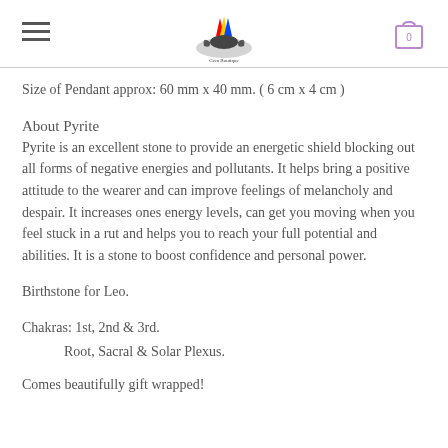Navigation header with hamburger menu, logo, and cart icon
Size of Pendant approx: 60 mm x 40 mm. ( 6 cm x 4 cm )
About Pyrite
Pyrite is an excellent stone to provide an energetic shield blocking out all forms of negative energies and pollutants. It helps bring a positive attitude to the wearer and can improve feelings of melancholy and despair. It increases ones energy levels, can get you moving when you feel stuck in a rut and helps you to reach your full potential and abilities. It is a stone to boost confidence and personal power.
Birthstone for Leo.
Chakras: 1st, 2nd & 3rd.
	Root, Sacral & Solar Plexus.
Comes beautifully gift wrapped!